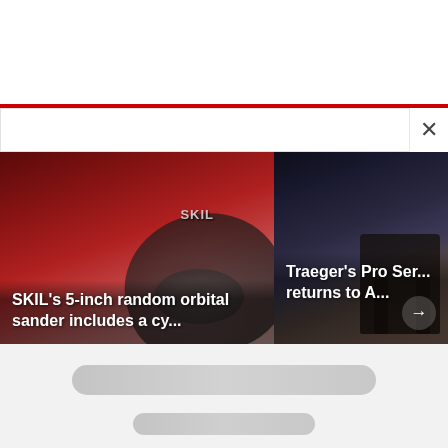[Figure (screenshot): White search bar area at the top of the page with a red underline and an X close button on the right side]
[Figure (photo): SKIL 5-inch random orbital sander product photo with red tones, overlaid with text 'SKIL’s 5-inch random orbital sander includes a cy...']
SKIL’s 5-inch random orbital sander includes a cy...
[Figure (photo): Traeger Pro Series grill on a wood deck with dark background, overlaid with text 'Traeger’s Pro Ser... returns to A...' and a right arrow]
Traeger’s Pro Ser... returns to A...